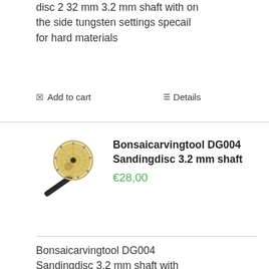disc 2 32 mm 3.2 mm shaft with on the side tungsten settings specail for hard materials
Add to cart   Details
[Figure (photo): Product photo of a sanding disc tool with a 3.2mm shaft and gold/yellow disc with tungsten settings]
Bonsaicarvingtool DG004 Sandingdisc 3.2 mm shaft
€28,00
Bonsaicarvingtool DG004 Sandingdisc 3.2 mm shaft with tungsten settings on all surface off the disc specail for side ways working